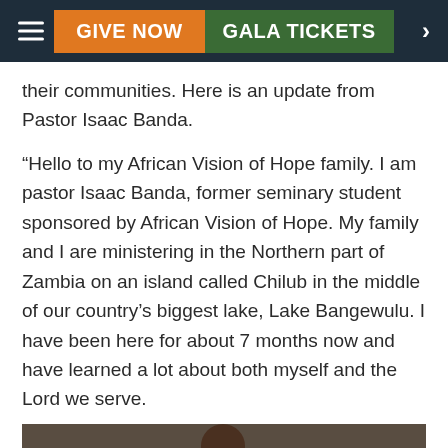GIVE NOW | GALA TICKETS
their communities. Here is an update from Pastor Isaac Banda.
“Hello to my African Vision of Hope family. I am pastor Isaac Banda, former seminary student sponsored by African Vision of Hope. My family and I are ministering in the Northern part of Zambia on an island called Chilub in the middle of our country’s biggest lake, Lake Bangewulu. I have been here for about 7 months now and have learned a lot about both myself and the Lord we serve.
[Figure (photo): A man in a suit gesturing, photographed indoors against a light wall with a dark board visible behind him.]